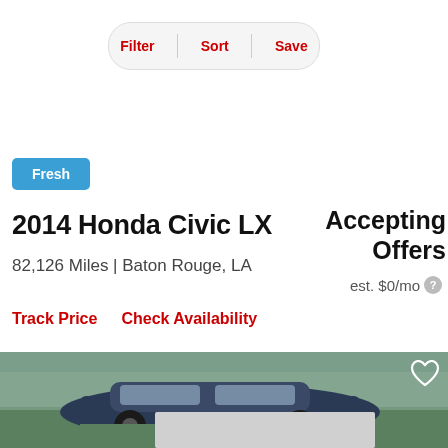Filter | Sort | Save
Fresh
2014 Honda Civic LX
Accepting Offers
82,126 Miles | Baton Rouge, LA
est. $0/mo
Track Price   Check Availability
[Figure (photo): Partial view of a car (Honda Civic) in an outdoor setting with greenery in background, bottom portion visible]